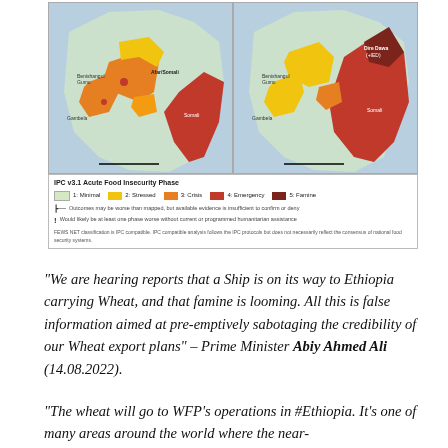[Figure (map): Two side-by-side IPC Acute Food Insecurity Phase maps of Ethiopia, with legend showing phases 1-5 (Minimal, Stressed, Crisis, Emergency, Famine) and disclaimer text about FEWS NET classification.]
“We are hearing reports that a Ship is on its way to Ethiopia carrying Wheat, and that famine is looming. All this is false information aimed at pre-emptively sabotaging the credibility of our Wheat export plans” – Prime Minister Abiy Ahmed Ali (14.08.2022).
“The wheat will go to WFP’s operations in #Ethiopia. It’s one of many areas around the world where the near-